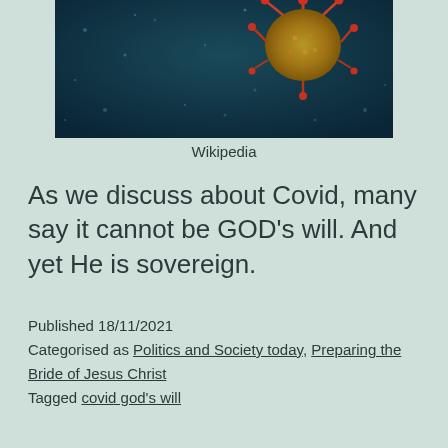[Figure (photo): Close-up microscope image of a coronavirus particle with red spike proteins against a dark teal/blue background with light particles]
Wikipedia
As we discuss about Covid, many say it cannot be GOD's will. And yet He is sovereign.
Published 18/11/2021
Categorised as Politics and Society today, Preparing the Bride of Jesus Christ
Tagged covid god's will